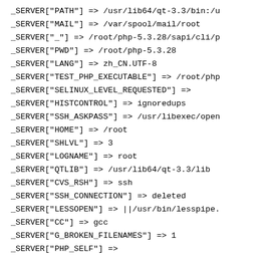_SERVER["PATH"] => /usr/lib64/qt-3.3/bin:/u
_SERVER["MAIL"] => /var/spool/mail/root
_SERVER["_"] => /root/php-5.3.28/sapi/cli/p
_SERVER["PWD"] => /root/php-5.3.28
_SERVER["LANG"] => zh_CN.UTF-8
_SERVER["TEST_PHP_EXECUTABLE"] => /root/php
_SERVER["SELINUX_LEVEL_REQUESTED"] =>
_SERVER["HISTCONTROL"] => ignoredups
_SERVER["SSH_ASKPASS"] => /usr/libexec/open
_SERVER["HOME"] => /root
_SERVER["SHLVL"] => 3
_SERVER["LOGNAME"] => root
_SERVER["QTLIB"] => /usr/lib64/qt-3.3/lib
_SERVER["CVS_RSH"] => ssh
_SERVER["SSH_CONNECTION"] => deleted
_SERVER["LESSOPEN"] => ||/usr/bin/lesspipe.
_SERVER["CC"] => gcc
_SERVER["G_BROKEN_FILENAMES"] => 1
_SERVER["PHP_SELF"] =>